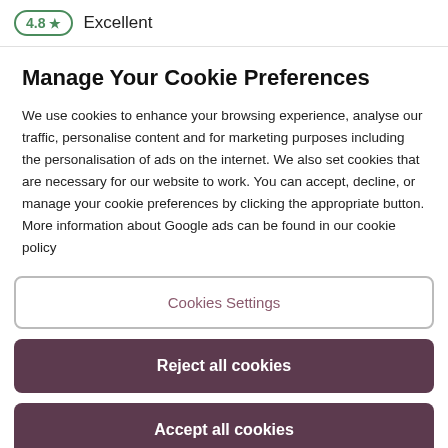4.8 ★  Excellent
Manage Your Cookie Preferences
We use cookies to enhance your browsing experience, analyse our traffic, personalise content and for marketing purposes including the personalisation of ads on the internet. We also set cookies that are necessary for our website to work. You can accept, decline, or manage your cookie preferences by clicking the appropriate button. More information about Google ads can be found in our cookie policy
Cookies Settings
Reject all cookies
Accept all cookies